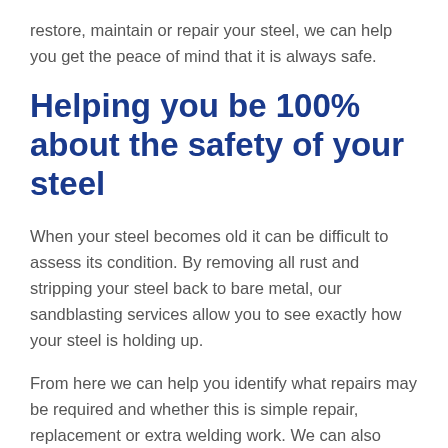restore, maintain or repair your steel, we can help you get the peace of mind that it is always safe.
Helping you be 100% about the safety of your steel
When your steel becomes old it can be difficult to assess its condition. By removing all rust and stripping your steel back to bare metal, our sandblasting services allow you to see exactly how your steel is holding up.
From here we can help you identify what repairs may be required and whether this is simple repair, replacement or extra welding work. We can also assist with painting metal, painting steel beams, painting steel buildings and applying coatings.